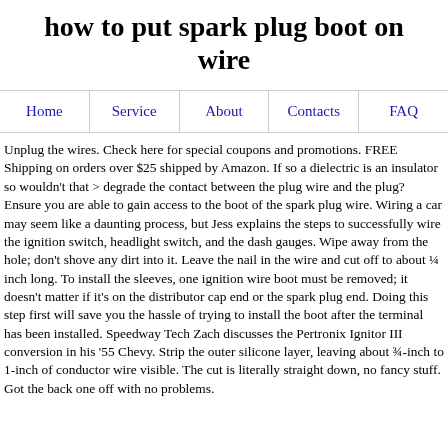how to put spark plug boot on wire
Home | Service | About | Contacts | FAQ
Unplug the wires. Check here for special coupons and promotions. FREE Shipping on orders over $25 shipped by Amazon. If so a dielectric is an insulator so wouldn't that > degrade the contact between the plug wire and the plug? Ensure you are able to gain access to the boot of the spark plug wire. Wiring a car may seem like a daunting process, but Jess explains the steps to successfully wire the ignition switch, headlight switch, and the dash gauges. Wipe away from the hole; don't shove any dirt into it. Leave the nail in the wire and cut off to about ¼ inch long. To install the sleeves, one ignition wire boot must be removed; it doesn't matter if it's on the distributor cap end or the spark plug end. Doing this step first will save you the hassle of trying to install the boot after the terminal has been installed. Speedway Tech Zach discusses the Pertronix Ignitor III conversion in his '55 Chevy. Strip the outer silicone layer, leaving about ¾-inch to 1-inch of conductor wire visible. The cut is literally straight down, no fancy stuff. Got the back one off with no problems.